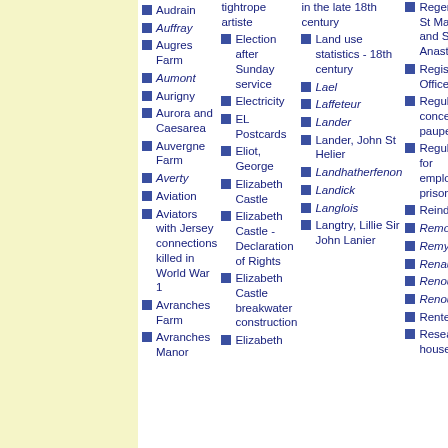Audrain
Auffray
Augres Farm
Aumont
Aurigny
Aurora and Caesarea
Auvergne Farm
Averty
Aviation
Aviators with Jersey connections killed in World War 1
Avranches Farm
Avranches Manor
tightrope artiste
Election after Sunday service
Electricity
EL Postcards
Eliot, George
Elizabeth Castle
Elizabeth Castle - Declaration of Rights
Elizabeth Castle breakwater construction
Elizabeth
in the late 18th century
Land use statistics - 18th century
Lael
Laffeteur
Lander
Lander, John St Helier
Landhatherfenon
Landick
Langlois
Langtry, Lillie Sir John Lanier
Regents of St Mannelier and St Anastase
Register Office
Regulations concerning paupers
Regulations for employing prisoners
Reindeer
Remon
Remy
Renault
Renouard
Renouf
Rentes
Researching house